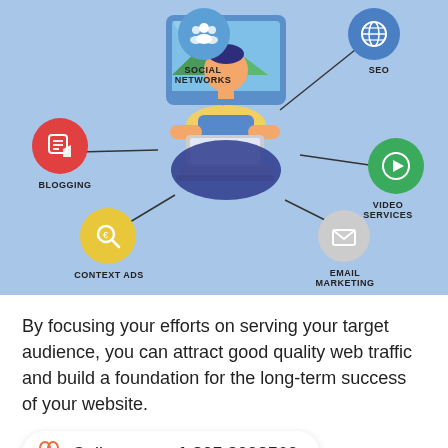[Figure (infographic): Digital marketing infographic on blue background showing a central figure of a person working on a laptop/computer screen, connected by lines to 5 circular icons: Social Networks (blue, top-center), SEO (blue with globe, top-right), Video Services (green with play button, right), Email Marketing (gray with envelope, bottom-right), Context Ads (yellow with magnifying glass, bottom-left), Blogging (red with pencil/speech bubble, left).]
By focusing your efforts on serving your target audience, you can attract good quality web traffic and build a foundation for the long-term success of your website.
Call us on: + 1 805 3092560
Bringing more quality visitors to your website has the